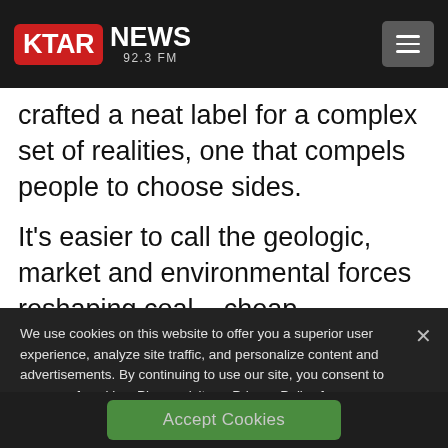KTAR NEWS 92.3 FM
crafted a neat label for a complex set of realities, one that compels people to choose sides.
It's easier to call the geologic, market and environmental forces reshaping coal _ cheap
We use cookies on this website to offer you a superior user experience, analyze site traffic, and personalize content and advertisements. By continuing to use our site, you consent to our use of cookies. Please visit our Privacy Policy for more information.
Accept Cookies